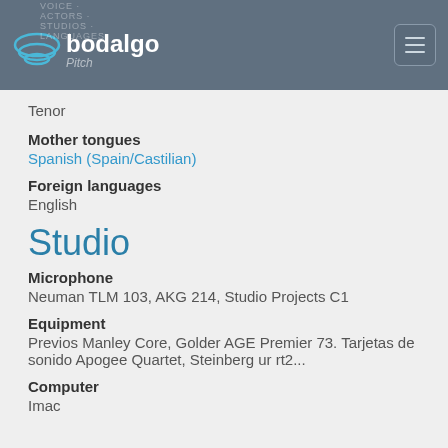bodalgo (logo) | Pitch
Tenor
Mother tongues
Spanish (Spain/Castilian)
Foreign languages
English
Studio
Microphone
Neuman TLM 103, AKG 214, Studio Projects C1
Equipment
Previos Manley Core, Golder AGE Premier 73. Tarjetas de sonido Apogee Quartet, Steinberg ur rt2...
Computer
Imac